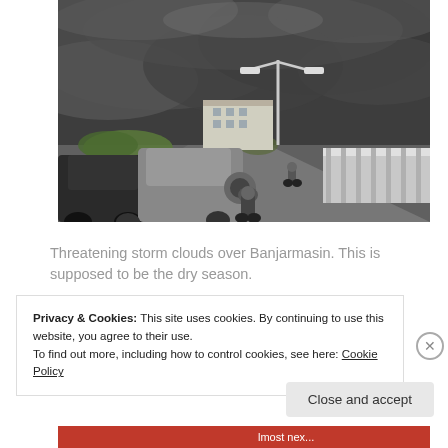[Figure (photo): Street scene with threatening dark storm clouds over Banjarmasin. A road with cars and motorcyclists, a white bridge railing on the right, a street lamp, and buildings visible under ominous grey clouds.]
Threatening storm clouds over Banjarmasin. This is supposed to be the dry season.
Privacy & Cookies: This site uses cookies. By continuing to use this website, you agree to their use.
To find out more, including how to control cookies, see here: Cookie Policy